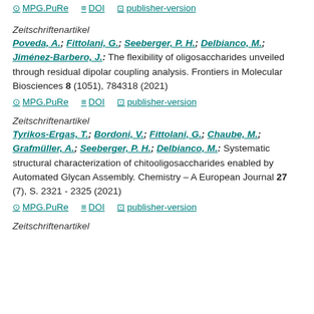MPG.PuRe  DOI  publisher-version
Zeitschriftenartikel
Poveda, A.; Fittolani, G.; Seeberger, P. H.; Delbianco, M.; Jiménez-Barbero, J.: The flexibility of oligosaccharides unveiled through residual dipolar coupling analysis. Frontiers in Molecular Biosciences 8 (1051), 784318 (2021)
MPG.PuRe  DOI  publisher-version
Zeitschriftenartikel
Tyrikos-Ergas, T.; Bordoni, V.; Fittolani, G.; Chaube, M.; Grafmüller, A.; Seeberger, P. H.; Delbianco, M.: Systematic structural characterization of chitooligosaccharides enabled by Automated Glycan Assembly. Chemistry – A European Journal 27 (7), S. 2321 - 2325 (2021)
MPG.PuRe  DOI  publisher-version
Zeitschriftenartikel